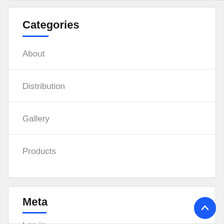Categories
About
Distribution
Gallery
Products
Meta
Log in